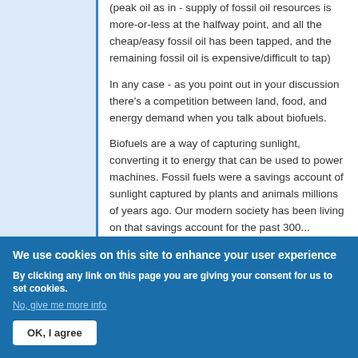(peak oil as in - supply of fossil oil resources is more-or-less at the halfway point, and all the cheap/easy fossil oil has been tapped, and the remaining fossil oil is expensive/difficult to tap)
In any case - as you point out in your discussion there's a competition between land, food, and energy demand when you talk about biofuels.
Biofuels are a way of capturing sunlight, converting it to energy that can be used to power machines. Fossil fuels were a savings account of sunlight captured by plants and animals millions of years ago. Our modern society has been living on that savings account for the past 300 years of the fossil
We use cookies on this site to enhance your user experience
By clicking any link on this page you are giving your consent for us to set cookies.
No, give me more info
OK, I agree